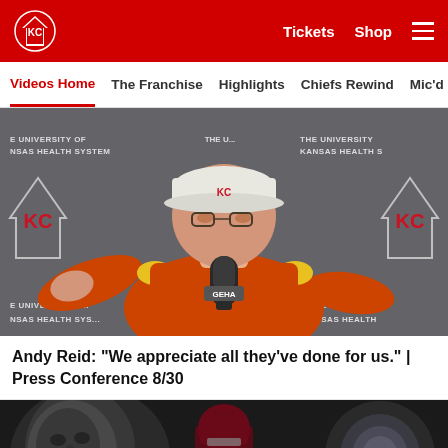Kansas City Chiefs — Tickets  Shop  ☰
Videos Home  The Franchise  Highlights  Chiefs Rewind  Mic'd
[Figure (photo): Andy Reid at press conference wearing orange Chiefs polo and white Chiefs cap, speaking in front of a University of Kansas Health System branded backdrop with KC Chiefs logos, with a GEHA microphone visible.]
Andy Reid: "We appreciate all they've done for us." | Press Conference 8/30
[Figure (photo): Kansas City Chiefs player in dark uniform running, with dramatic black and white background imagery.]